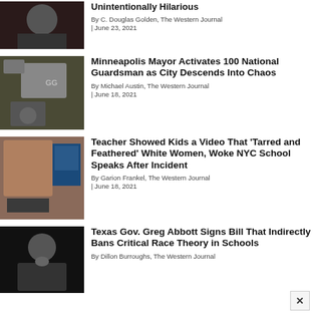Unintentionally Hilarious | By C. Douglas Golden, The Western Journal | June 23, 2021
Minneapolis Mayor Activates 100 National Guardsman as City Descends Into Chaos | By Michael Austin, The Western Journal | June 18, 2021
Teacher Showed Kids a Video That 'Tarred and Feathered' White Women, Woke NYC School Speaks After Incident | By Garion Frankel, The Western Journal | June 18, 2021
Texas Gov. Greg Abbott Signs Bill That Indirectly Bans Critical Race Theory in Schools | By Dillon Burroughs, The Western Journal